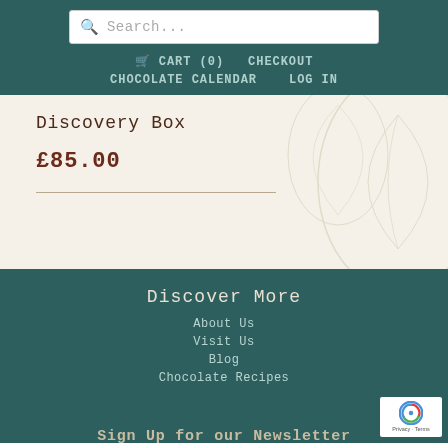Search... | CART (0) | CHECKOUT | CHOCOLATE CALENDAR | LOG IN
Discovery Box
£85.00
Discover More
About Us
Visit Us
Blog
Chocolate Recipes
Sign Up for our Newsletter